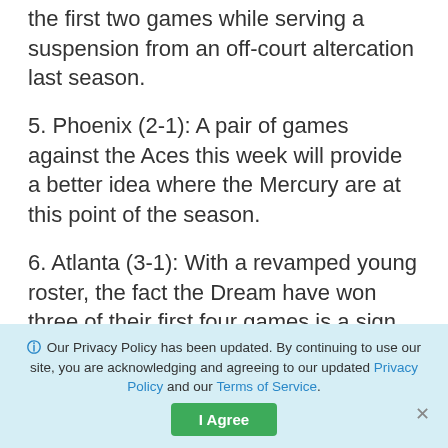the first two games while serving a suspension from an off-court altercation last season.
5. Phoenix (2-1): A pair of games against the Aces this week will provide a better idea where the Mercury are at this point of the season.
6. Atlanta (3-1): With a revamped young roster, the fact the Dream have won three of their first four games is a sign the team is headed in the right direction. Rookie Rhyne Howard became the seventh player in league history to score 30 or more points in one of her first four games..
7. Dallas (2-1): Impressive wins at Washington
Our Privacy Policy has been updated. By continuing to use our site, you are acknowledging and agreeing to our updated Privacy Policy and our Terms of Service.
I Agree